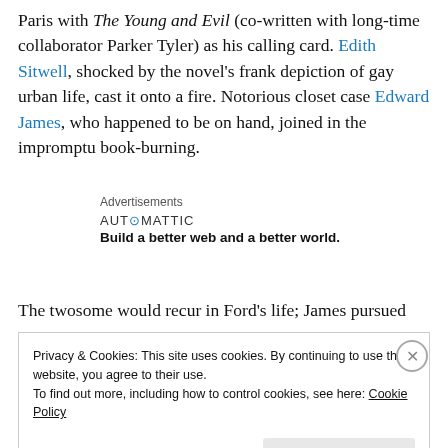Paris with The Young and Evil (co-written with long-time collaborator Parker Tyler) as his calling card. Edith Sitwell, shocked by the novel's frank depiction of gay urban life, cast it onto a fire. Notorious closet case Edward James, who happened to be on hand, joined in the impromptu book-burning.
Advertisements
AUTOMATTIC
Build a better web and a better world.
The twosome would recur in Ford's life; James pursued
Privacy & Cookies: This site uses cookies. By continuing to use this website, you agree to their use.
To find out more, including how to control cookies, see here: Cookie Policy
Close and accept